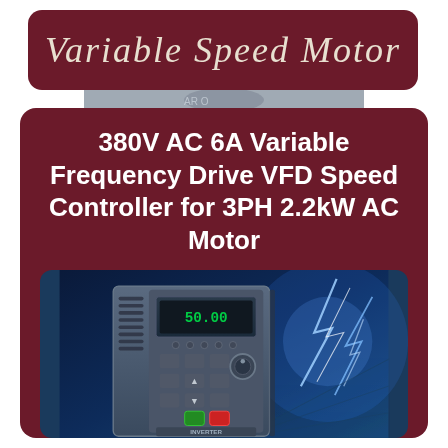Variable Speed Motor
380V AC 6A Variable Frequency Drive VFD Speed Controller for 3PH 2.2kW AC Motor
[Figure (photo): Photo of a blue VFD (Variable Frequency Drive) inverter unit with keypad and display panel, set against a background showing electrical lightning/energy effects in blue tones]